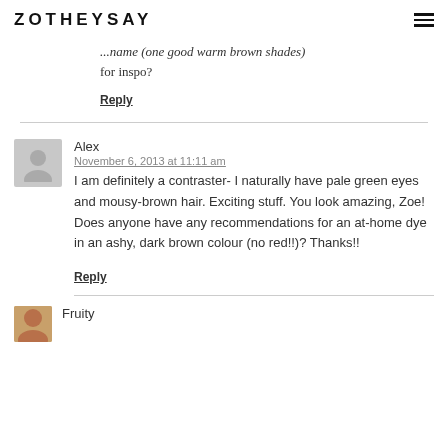ZOTHEYSAY
...Name (one good warm brown shades) for inspo?
Reply
Alex
November 6, 2013 at 11:11 am
I am definitely a contraster- I naturally have pale green eyes and mousy-brown hair. Exciting stuff. You look amazing, Zoe! Does anyone have any recommendations for an at-home dye in an ashy, dark brown colour (no red!!)? Thanks!!
Reply
Fruity